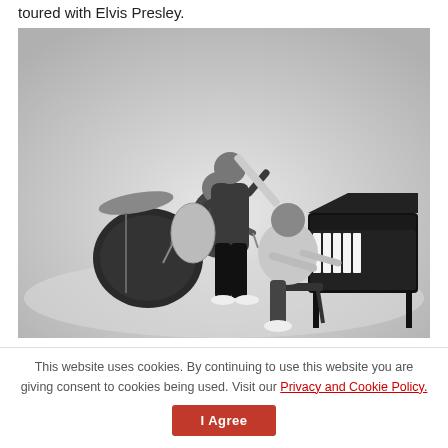toured with Elvis Presley.
[Figure (photo): Black and white photograph of three musicians performing: a drummer on the left, a guitarist in the center, and a pianist on the right seated at a grand piano.]
This website uses cookies. By continuing to use this website you are giving consent to cookies being used. Visit our Privacy and Cookie Policy.
I Agree